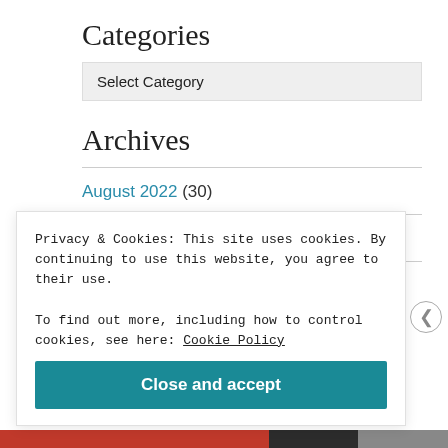Categories
Select Category
Archives
August 2022 (30)
July 2022 (22)
June 2022 (27)
Privacy & Cookies: This site uses cookies. By continuing to use this website, you agree to their use.
To find out more, including how to control cookies, see here: Cookie Policy
Close and accept